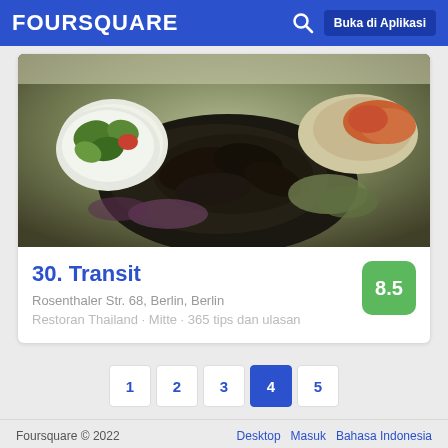FOURSQUARE  Buka di Aplikasi
[Figure (photo): Food photo showing grilled meat dishes with vegetables and salads in white bowls]
30. Transit
8.5
Rosenthaler Str. 68, Berlin, Berlin
Restoran Thailand · Mitte · 365 tips dan ulasan
1
2
3
4
5
Foursquare © 2022   Desktop  Masuk  Bahasa Indonesia